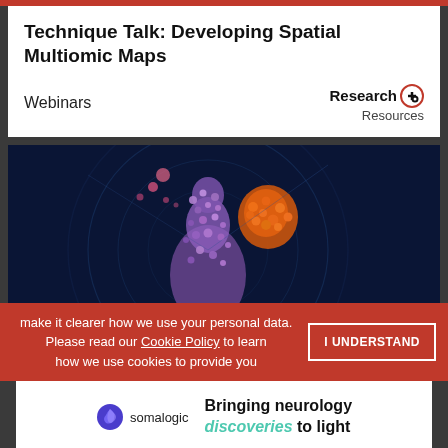Technique Talk: Developing Spatial Multiomic Maps
Webinars
[Figure (illustration): Dark blue scientific illustration of a human figure composed of purple cell clusters, holding a glowing orange organ (heart/tumor), with circular radar/HUD elements in the background]
make it clearer how we use your personal data.
Please read our Cookie Policy to learn how we use cookies to provide you
I UNDERSTAND
[Figure (logo): Somalogic advertisement banner: somalogic logo with spiral icon, tagline 'Bringing neurology discoveries to light']
ADVERTISEMENT